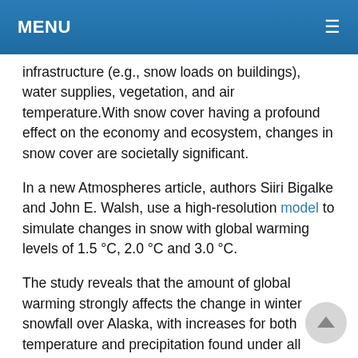MENU
infrastructure (e.g., snow loads on buildings), water supplies, vegetation, and air temperature. With snow cover having a profound effect on the economy and ecosystem, changes in snow cover are societally significant.
In a new Atmospheres article, authors Siiri Bigalke and John E. Walsh, use a high-resolution model to simulate changes in snow with global warming levels of 1.5 °C, 2.0 °C and 3.0 °C.
The study reveals that the amount of global warming strongly affects the change in winter snowfall over Alaska, with increases for both temperature and precipitation found under all three global warming scenarios. The increases become larger as the global warming increases. Future changes in snowfall are characterized by a north–south gradient over Alaska, with increased snowfall for northern Alaska. This